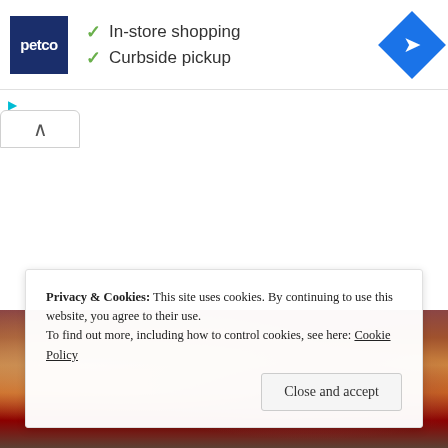[Figure (screenshot): Petco advertisement banner with logo, checkmarks for 'In-store shopping' and 'Curbside pickup', and a blue navigation arrow diamond icon on the right]
✓ In-store shopping
✓ Curbside pickup
[Figure (screenshot): Collapse/minimize tab button with upward caret arrow]
[Figure (photo): Background photo showing people, partially visible behind cookie consent overlay]
Privacy & Cookies: This site uses cookies. By continuing to use this website, you agree to their use.
To find out more, including how to control cookies, see here: Cookie Policy
Close and accept